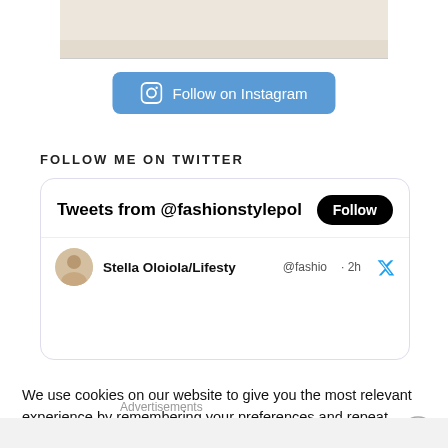[Figure (photo): White fabric/textile photo partially visible at top of page]
[Figure (other): Follow on Instagram button in blue with Instagram icon]
FOLLOW ME ON TWITTER
[Figure (screenshot): Twitter widget showing 'Tweets from @fashionstylepol' with Follow button and partial tweet from Stella Oloiola/Lifestyle @fashio 2h]
We use cookies on our website to give you the most relevant experience by remembering your preferences and repeat visits. By clicking “Accept All”, you consent to the use of ALL the cookies. However, you may visit "Cookie Settings" to provide a controlled consent.
Advertisements